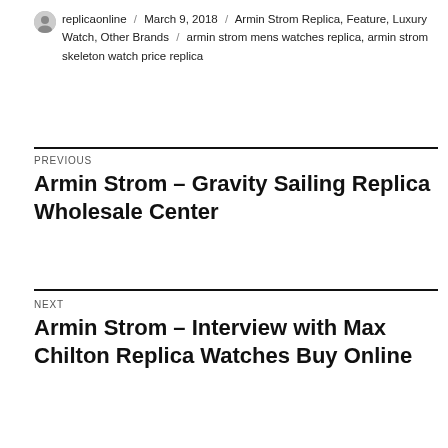replicaonline / March 9, 2018 / Armin Strom Replica, Feature, Luxury Watch, Other Brands / armin strom mens watches replica, armin strom skeleton watch price replica
PREVIOUS
Armin Strom – Gravity Sailing Replica Wholesale Center
NEXT
Armin Strom – Interview with Max Chilton Replica Watches Buy Online